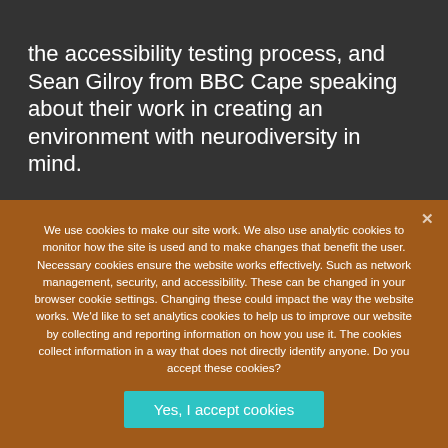the accessibility testing process, and Sean Gilroy from BBC Cape speaking about their work in creating an environment with neurodiversity in mind.
We use cookies to make our site work. We also use analytic cookies to monitor how the site is used and to make changes that benefit the user. Necessary cookies ensure the website works effectively. Such as network management, security, and accessibility. These can be changed in your browser cookie settings. Changing these could impact the way the website works. We'd like to set analytics cookies to help us to improve our website by collecting and reporting information on how you use it. The cookies collect information in a way that does not directly identify anyone. Do you accept these cookies?
Yes, I accept cookies